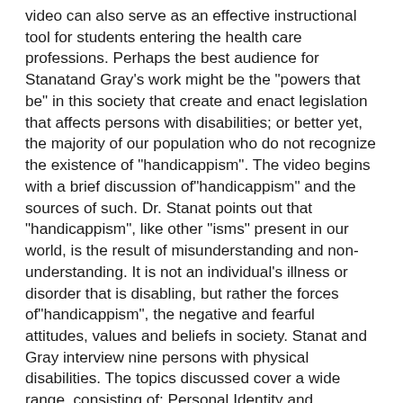video can also serve as an effective instructional tool for students entering the health care professions. Perhaps the best audience for Stanatand Gray's work might be the "powers that be" in this society that create and enact legislation that affects persons with disabilities; or better yet, the majority of our population who do not recognize the existence of "handicappism". The video begins with a brief discussion of"handicappism" and the sources of such. Dr. Stanat points out that "handicappism", like other "isms" present in our world, is the result of misunderstanding and non-understanding. It is not an individual's illness or disorder that is disabling, but rather the forces of"handicappism", the negative and fearful attitudes, values and beliefs in society. Stanat and Gray interview nine persons with physical disabilities. The topics discussed cover a wide range, consisting of: Personal Identity and Philosophy; Attitudes; Daily Routine; Independent Living; Architectural Barriers; Advocacy and Legislation; Technology; Employment; Recreation; Body Image,Congenital vs. Traumatic; Frlends, Family and Intimacy; Fears, Life and Death; and What Would Make Life Better. The nine persons interviewed provide thoughtful